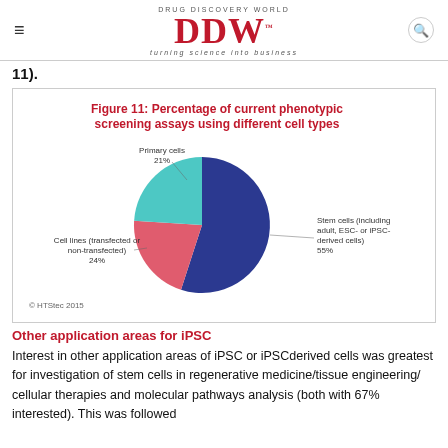DRUG DISCOVERY WORLD DDW turning science into business
11).
[Figure (pie-chart): Figure 11: Percentage of current phenotypic screening assays using different cell types]
© HTStec 2015
Other application areas for iPSC
Interest in other application areas of iPSC or iPSCderived cells was greatest for investigation of stem cells in regenerative medicine/tissue engineering/ cellular therapies and molecular pathways analysis (both with 67% interested). This was followed